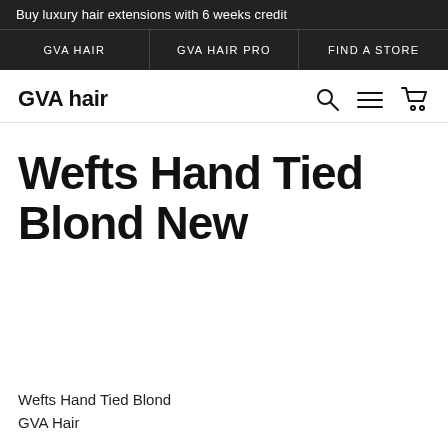Buy luxury hair extensions with 6 weeks credit
GVA HAIR | GVA HAIR PRO | FIND A STORE
GVA hair
Wefts Hand Tied Blond New
Wefts Hand Tied Blond
GVA Hair